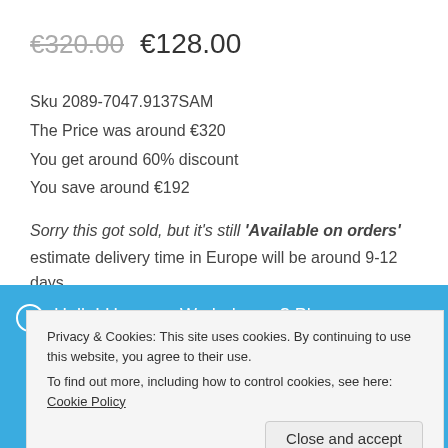€320.00  €128.00
Sku 2089-7047.9137SAM
The Price was around €320
You get around 60% discount
You save around €192
Sorry this got sold, but it's still 'Available on orders'
estimate delivery time in Europe will be around 9-12 days
Hello! How can We help you? Please message us if you
Privacy & Cookies: This site uses cookies. By continuing to use this website, you agree to their use.
To find out more, including how to control cookies, see here: Cookie Policy
Close and accept